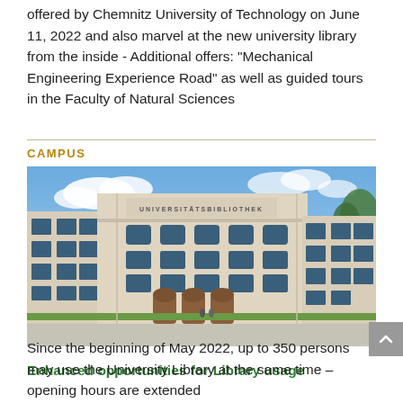offered by Chemnitz University of Technology on June 11, 2022 and also marvel at the new university library from the inside - Additional offers: "Mechanical Engineering Experience Road" as well as guided tours in the Faculty of Natural Sciences
CAMPUS
[Figure (photo): Exterior photograph of the Universitätsbibliothek (University Library) building at Chemnitz University of Technology. A large classical-style multi-storey building with many windows, beige/cream colored facade, with 'UNIVERSITÄTSBIBLIOTHEK' inscribed above the top floor. Blue sky with clouds in background. People visible in front.]
Enhanced opportunities for Library usage
Since the beginning of May 2022, up to 350 persons may use the University Library at the same time – opening hours are extended